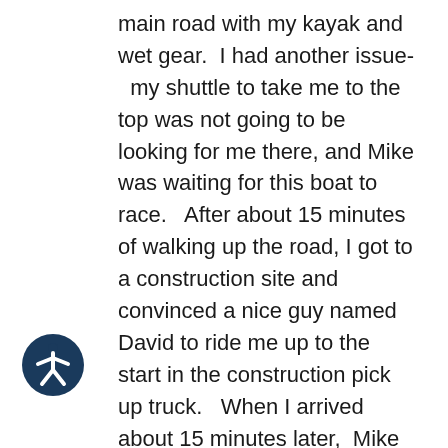main road with my kayak and wet gear.  I had another issue-  my shuttle to take me to the top was not going to be looking for me there, and Mike was waiting for this boat to race.   After about 15 minutes of walking up the road, I got to a construction site and convinced a nice guy named David to ride me up to the start in the construction pick up truck.   When I arrived about 15 minutes later,  Mike Dawson, the last guy to go, just pulled out of the start and Mike Travares was waving his hands to me to run fast.  I ran his kayak up to him he got in and started!    I felt really bad to have delayed his start.  They allowed him to start at the end, about 20 minutes after his scheduled start time.   I told him that I
[Figure (other): Accessibility icon: dark navy circle with white stick figure person in standard accessibility symbol pose]